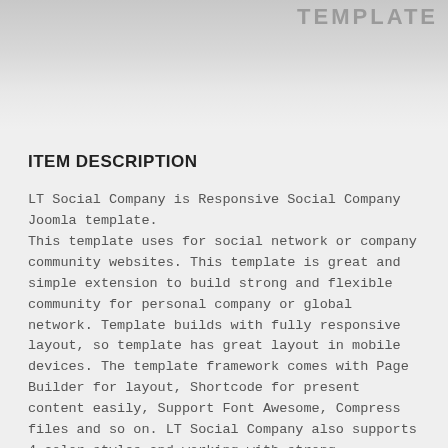TEMPLATE
ITEM DESCRIPTION
LT Social Company is Responsive Social Company Joomla template.
This template uses for social network or company community websites. This template is great and simple extension to build strong and flexible community for personal company or global network. Template builds with fully responsive layout, so template has great layout in mobile devices. The template framework comes with Page Builder for layout, Shortcode for present content easily, Support Font Awesome, Compress files and so on. LT Social Company also supports 4 color styles and working with strong framework, unlimited module positions and easy to drag-drop layout content.